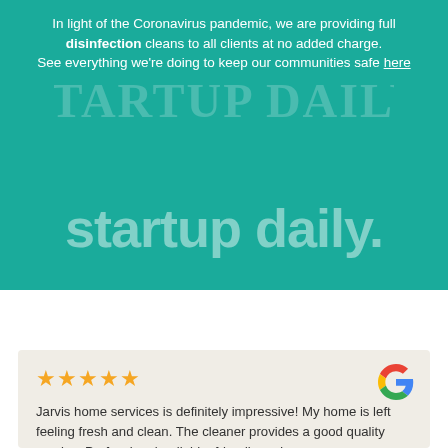In light of the Coronavirus pandemic, we are providing full disinfection cleans to all clients at no added charge. See everything we're doing to keep our communities safe here
[Figure (logo): Startup Daily wordmark logo in large serif/decorative font, partially visible as watermark]
startup daily.
Jarvis home services is definitely impressive! My home is left feeling fresh and clean. The cleaner provides a good quality service. Professional, reliable, friendly and